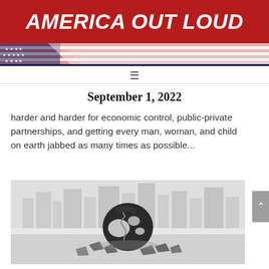AMERICA OUT LOUD
September 1, 2022
harder and harder for economic control, public-private partnerships, and getting every man, woman, and child on earth jabbed as many times as possible...
[Figure (photo): Black and white photo of a broken globe shattered on a surface with a city skyline in the background]